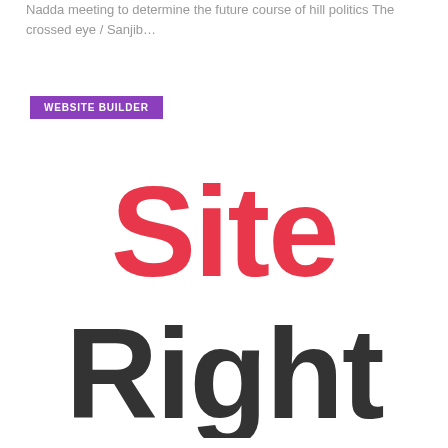Nadda meeting to determine the future course of hill politics The crossed eye / Sanjib…
WEBSITE BUILDER
[Figure (logo): SiteRight logo with 'Site' in red and 'Right' in dark gray/charcoal, large bold rounded sans-serif font, two-line stacked layout]